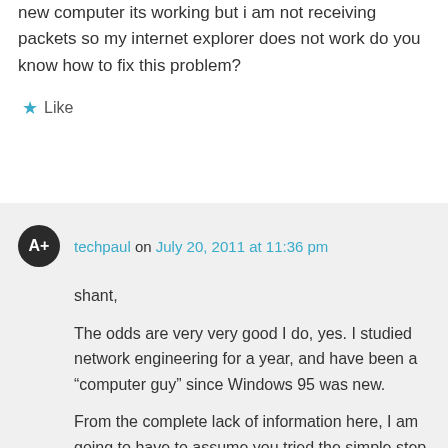new computer its working but i am not receiving packets so my internet explorer does not work do you know how to fix this problem?
★ Like
techpaul on July 20, 2011 at 11:36 pm
shant,
The odds are very very good I do, yes. I studied network engineering for a year, and have been a “computer guy” since Windows 95 was new.

From the complete lack of information here, I am going to have to assume you tried the simple step in the article (and the